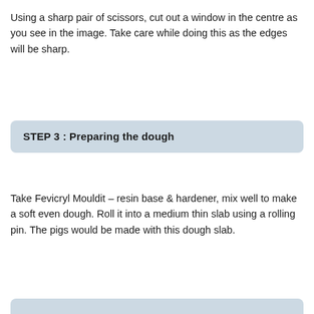Using a sharp pair of scissors, cut out a window in the centre as you see in the image. Take care while doing this as the edges will be sharp.
STEP 3 : Preparing the dough
Take Fevicryl Mouldit – resin base & hardener, mix well to make a soft even dough. Roll it into a medium thin slab using a rolling pin. The pigs would be made with this dough slab.